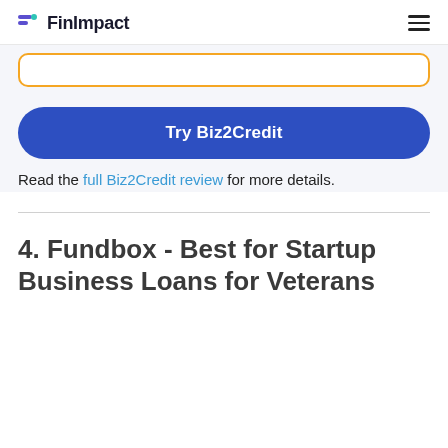FinImpact
[Figure (other): Yellow-bordered input box (partially visible at top of content area)]
Try Biz2Credit
Read the full Biz2Credit review for more details.
4. Fundbox - Best for Startup Business Loans for Veterans